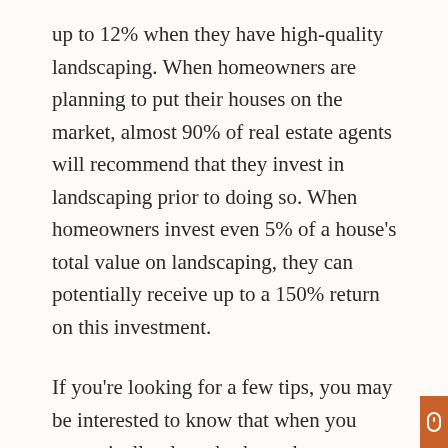up to 12% when they have high-quality landscaping. When homeowners are planning to put their houses on the market, almost 90% of real estate agents will recommend that they invest in landscaping prior to doing so. When homeowners invest even 5% of a house’s total value on landscaping, they can potentially receive up to a 150% return on this investment.

If you’re looking for a few tips, you may be interested to know that when you strategically plant shrubs and trees around your property, it can save on your energy usage and costs. Savings of up to 25% are possible because air